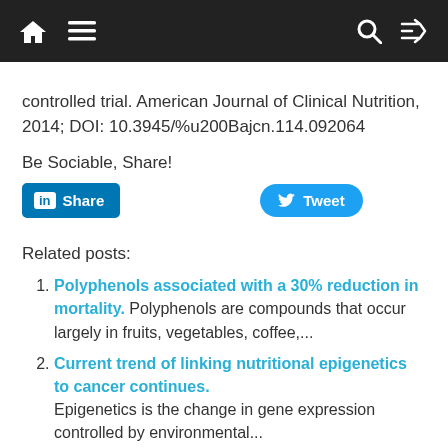Navigation bar with home, menu, search, and shuffle icons
controlled trial. American Journal of Clinical Nutrition, 2014; DOI: 10.3945/%u200Bajcn.114.092064
Be Sociable, Share!
[Figure (screenshot): LinkedIn Share button and Twitter Tweet button]
Related posts:
Polyphenols associated with a 30% reduction in mortality. Polyphenols are compounds that occur largely in fruits, vegetables, coffee,...
Current trend of linking nutritional epigenetics to cancer continues. Epigenetics is the change in gene expression controlled by environmental...